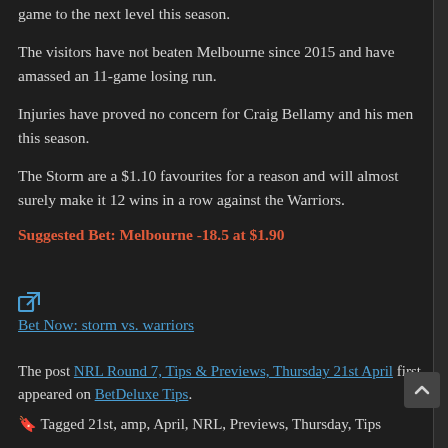game to the next level this season.
The visitors have not beaten Melbourne since 2015 and have amassed an 11-game losing run.
Injuries have proved no concern for Craig Bellamy and his men this season.
The Storm are a $1.10 favourites for a reason and will almost surely make it 12 wins in a row against the Warriors.
Suggested Bet: Melbourne -18.5 at $1.90
[Figure (other): External link icon]
Bet Now: storm vs. warriors
The post NRL Round 7, Tips & Previews, Thursday 21st April first appeared on BetDeluxe Tips.
Tagged 21st, amp, April, NRL, Previews, Thursday, Tips